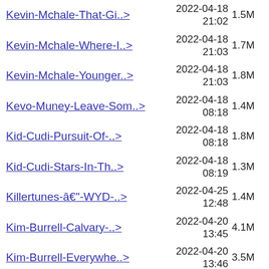Kevin-Mchale-That-Gi..> 2022-04-18 21:02 1.5M
Kevin-Mchale-Where-I..> 2022-04-18 21:03 1.7M
Kevin-Mchale-Younger..> 2022-04-18 21:03 1.8M
Kevo-Muney-Leave-Som..> 2022-04-18 08:18 1.4M
Kid-Cudi-Pursuit-Of-..> 2022-04-18 08:18 1.8M
Kid-Cudi-Stars-In-Th..> 2022-04-18 08:19 1.3M
Killertunes-â€"-WYD-..> 2022-04-25 12:48 1.4M
Kim-Burrell-Calvary-..> 2022-04-20 13:45 4.1M
Kim-Burrell-Everywhe..> 2022-04-20 13:46 3.5M
Kim-Burrell-Falling-..> 2022-04-20 13:46 1.5M
Kim-Burrell-Happy-vi..> 2022-04-20 13:47 1.7M
Kim-Burrell-Have-Fai..> 2022-04-20 2.7M